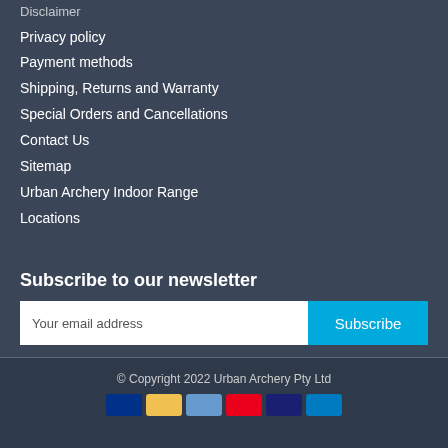Disclaimer
Privacy policy
Payment methods
Shipping, Returns and Warranty
Special Orders and Cancellations
Contact Us
Sitemap
Urban Archery Indoor Range
Locations
Subscribe to our newsletter
Your email address
Subscribe
© Copyright 2022 Urban Archery Pty Ltd